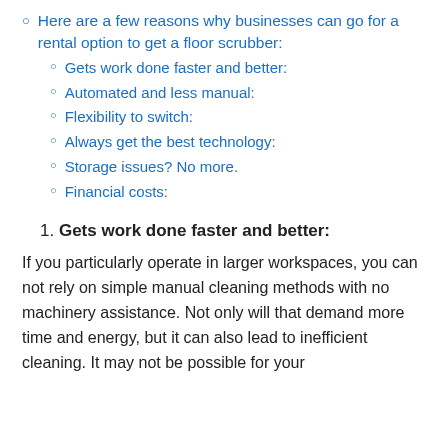Here are a few reasons why businesses can go for a rental option to get a floor scrubber:
Gets work done faster and better:
Automated and less manual:
Flexibility to switch:
Always get the best technology:
Storage issues? No more.
Financial costs:
1. Gets work done faster and better:
If you particularly operate in larger workspaces, you can not rely on simple manual cleaning methods with no machinery assistance. Not only will that demand more time and energy, but it can also lead to inefficient cleaning. It may not be possible for your